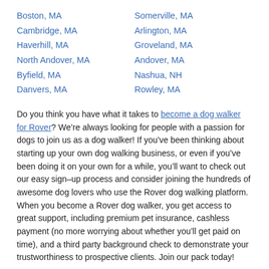Boston, MA
Cambridge, MA
Haverhill, MA
North Andover, MA
Byfield, MA
Danvers, MA
Somerville, MA
Arlington, MA
Groveland, MA
Andover, MA
Nashua, NH
Rowley, MA
Do you think you have what it takes to become a dog walker for Rover? We’re always looking for people with a passion for dogs to join us as a dog walker! If you’ve been thinking about starting up your own dog walking business, or even if you’ve been doing it on your own for a while, you’ll want to check out our easy sign–up process and consider joining the hundreds of awesome dog lovers who use the Rover dog walking platform. When you become a Rover dog walker, you get access to great support, including premium pet insurance, cashless payment (no more worrying about whether you’ll get paid on time), and a third party background check to demonstrate your trustworthiness to prospective clients. Join our pack today!
When you book dog walking services on Rover, you’ll be able to connect with a dog walker who’s a good fit for you, your dog,